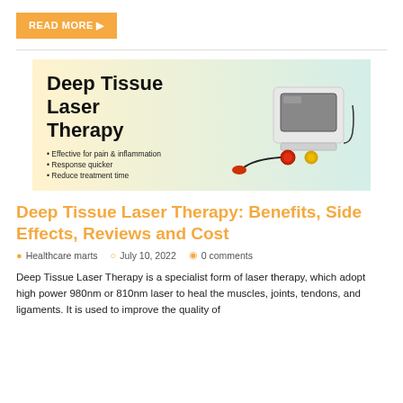READ MORE ▶
[Figure (illustration): Promotional banner for Deep Tissue Laser Therapy showing a laser therapy device on a gradient background. Banner text: 'Deep Tissue Laser Therapy' with bullet points: Effective for pain & inflammation, Response quicker, Reduce treatment time.]
Deep Tissue Laser Therapy: Benefits, Side Effects, Reviews and Cost
Healthcare marts   July 10, 2022   0 comments
Deep Tissue Laser Therapy is a specialist form of laser therapy, which adopt high power 980nm or 810nm laser to heal the muscles, joints, tendons, and ligaments. It is used to improve the quality of